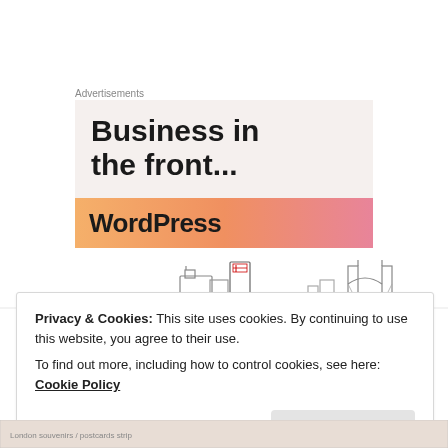Advertisements
[Figure (screenshot): WordPress advertisement banner with text 'Business in the front...' on light beige background, with orange-to-pink gradient bar at bottom showing 'WordPress' text in bold]
[Figure (illustration): London skyline illustration showing buildings including what appears to be Tower Bridge and other London landmarks in a sketch/line art style]
Privacy & Cookies: This site uses cookies. By continuing to use this website, you agree to their use.
To find out more, including how to control cookies, see here: Cookie Policy
Close and accept